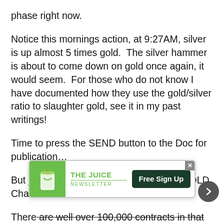phase right now.
Notice this mornings action, at 9:27AM, silver is up almost 5 times gold.  The silver hammer is about to come down on gold once again, it would seem.  For those who do not know I have documented how they use the gold/silver ratio to slaughter gold, see it in my past writings!
Time to press the SEND button to the Doc for publication…
But just look at the big red circle on the GOLD Chart!!!
There are well over 100,000 contracts in that circle in w[...] a MAS[...] ust
[Figure (other): Advertisement banner for 'The Juice Newsletter' with green cup icon, green text logo, and dark green 'Free Sign Up' button. There is also a close (x) button and a grey arrow navigation button.]